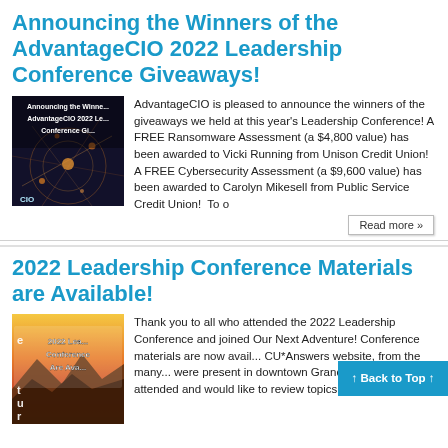Announcing the Winners of the AdvantageCIO 2022 Leadership Conference Giveaways!
[Figure (photo): Thumbnail image with text: Announcing the Winne... AdvantageCIO 2022 Le... Conference Gi... with network/light background and CIO logo]
AdvantageCIO is pleased to announce the winners of the giveaways we held at this year's Leadership Conference! A FREE Ransomware Assessment (a $4,800 value) has been awarded to Vicki Running from Unison Credit Union! A FREE Cybersecurity Assessment (a $9,600 value) has been awarded to Carolyn Mikesell from Public Service Credit Union! To o
Read more »
2022 Leadership Conference Materials are Available!
[Figure (photo): Thumbnail image with text: 2022 Leadership Conference Are Available! with colorful sunset background]
Thank you to all who attended the 2022 Leadership Conference and joined Our Next Adventure! Conference materials are now avail... CU*Answers website, from the many... were present in downtown Grand Rapids. If you attended and would like to review topics discussed
↑ Back to Top ↑